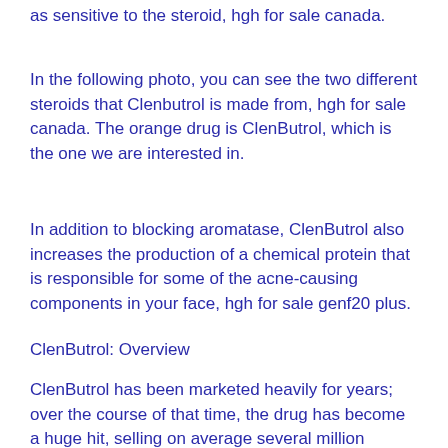as sensitive to the steroid, hgh for sale canada.
In the following photo, you can see the two different steroids that Clenbutrol is made from, hgh for sale canada. The orange drug is ClenButrol, which is the one we are interested in.
In addition to blocking aromatase, ClenButrol also increases the production of a chemical protein that is responsible for some of the acne-causing components in your face, hgh for sale genf20 plus.
ClenButrol: Overview
ClenButrol has been marketed heavily for years; over the course of that time, the drug has become a huge hit, selling on average several million tablets every year.